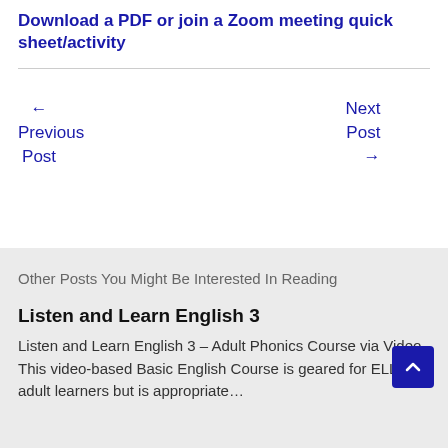Download a PDF or join a Zoom meeting quick sheet/activity
← Previous Post
Next Post →
Other Posts You Might Be Interested In Reading
Listen and Learn English 3
Listen and Learn English 3 – Adult Phonics Course via Video This video-based Basic English Course is geared for ELL adult learners but is appropriate…